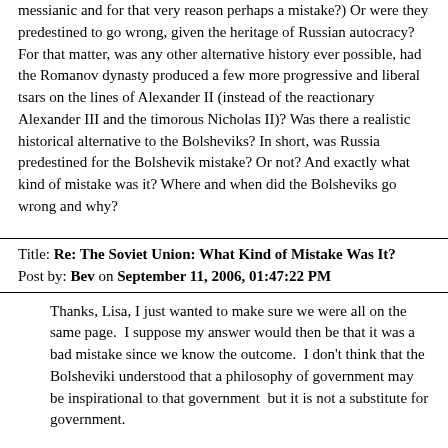messianic and for that very reason perhaps a mistake?) Or were they predestined to go wrong, given the heritage of Russian autocracy? For that matter, was any other alternative history ever possible, had the Romanov dynasty produced a few more progressive and liberal tsars on the lines of Alexander II (instead of the reactionary Alexander III and the timorous Nicholas II)? Was there a realistic historical alternative to the Bolsheviks? In short, was Russia predestined for the Bolshevik mistake? Or not? And exactly what kind of mistake was it? Where and when did the Bolsheviks go wrong and why?
Title: Re: The Soviet Union: What Kind of Mistake Was It?
Post by: Bev on September 11, 2006, 01:47:22 PM
Thanks, Lisa, I just wanted to make sure we were all on the same page.  I suppose my answer would then be that it was a bad mistake since we know the outcome.  I don't think that the Bolsheviki understood that a philosophy of government may be inspirational to that government  but it is not a substitute for government.
Title: Re: The Soviet Union: What Kind of Mistake Was It?
Post by: griffh on September 11, 2006, 01:53:23 PM
That was truly my fault and I apologize Lisa and I especially apologize to you Tzarfan.  I wasn't using the word love in a negative way it came out. I didn't mean to say that you "loved